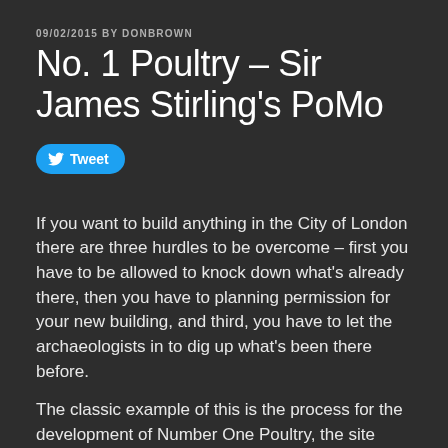09/02/2015 BY DONBROWN
No. 1 Poultry – Sir James Stirling's PoMo
Tweet
If you want to build anything in the City of London there are three hurdles to be overcome – first you have to be allowed to knock down what's already there, then you have to planning permission for your new building, and third, you have to let the archaeologists in to dig up what's been there before.
The classic example of this is the process for the development of Number One Poultry, the site opposite Bank junction and the Mansion House where Sir James Stirling's post-modern construction now stands.